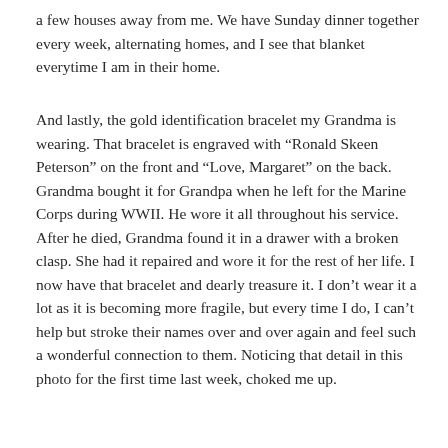a few houses away from me.  We have Sunday dinner together every week, alternating homes, and I see that blanket everytime I am in their home.
And lastly, the gold identification bracelet my Grandma is wearing.  That bracelet is engraved with “Ronald Skeen Peterson” on the front and “Love, Margaret” on the back.  Grandma bought it for Grandpa when he left for the Marine Corps during WWII.  He wore it all throughout his service.  After he died, Grandma found it in a drawer with a broken clasp.  She had it repaired and wore it for the rest of her life.  I now have that bracelet and dearly treasure it.  I don’t wear it a lot as it is becoming more fragile, but every time I do, I can’t help but stroke their names over and over again and feel such a wonderful connection to them.  Noticing that detail in this photo for the first time last week, choked me up.